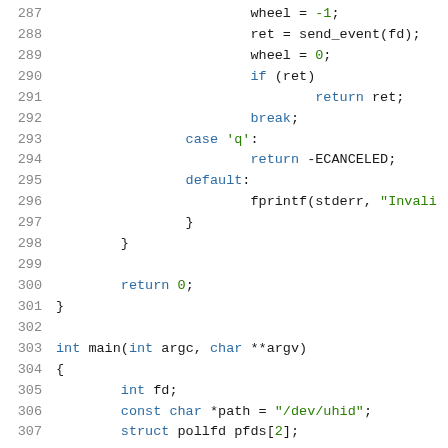[Figure (screenshot): Source code listing in C, lines 287–307, showing a switch statement with cases for wheel mouse events and a main function definition with variable declarations.]